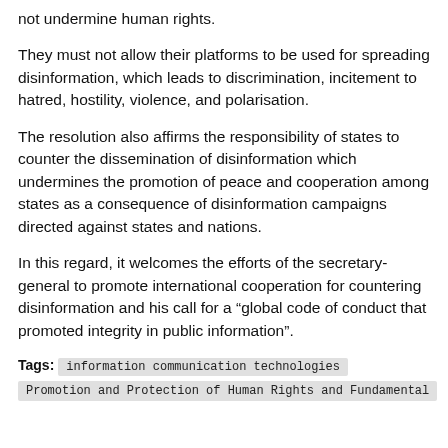not undermine human rights.
They must not allow their platforms to be used for spreading disinformation, which leads to discrimination, incitement to hatred, hostility, violence, and polarisation.
The resolution also affirms the responsibility of states to counter the dissemination of disinformation which undermines the promotion of peace and cooperation among states as a consequence of disinformation campaigns directed against states and nations.
In this regard, it welcomes the efforts of the secretary-general to promote international cooperation for countering disinformation and his call for a “global code of conduct that promoted integrity in public information”.
Tags: information communication technologies
Promotion and Protection of Human Rights and Fundamental